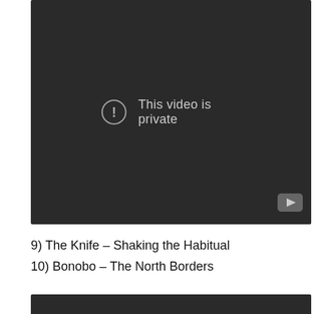[Figure (screenshot): A dark video player showing 'This video is private' message with an exclamation mark icon in a circle, and a YouTube logo button in the bottom right corner.]
9) The Knife – Shaking the Habitual
10) Bonobo – The North Borders
[Figure (screenshot): Bottom edge of another dark video player, partially visible.]